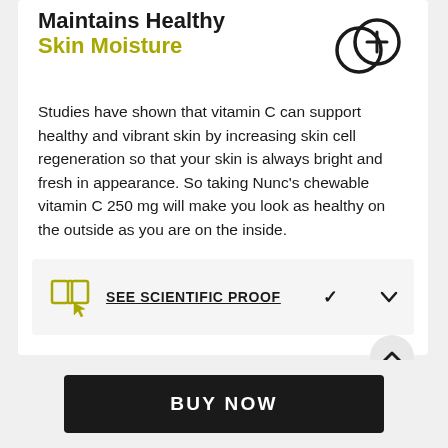Maintains Healthy Skin Moisture
[Figure (illustration): Icon showing two overlapping circles with a plus sign, representing skin moisture concept]
Studies have shown that vitamin C can support healthy and vibrant skin by increasing skin cell regeneration so that your skin is always bright and fresh in appearance. So taking Nunc's chewable vitamin C 250 mg will make you look as healthy on the outside as you are on the inside.
[Figure (illustration): Gold/yellow open book icon with a cursor arrow pointing at it]
SEE SCIENTIFIC PROOF
BUY NOW